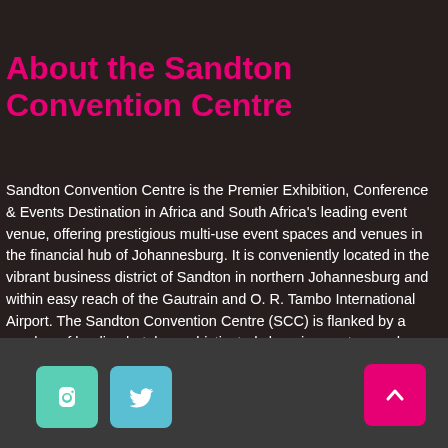About the Sandton Convention Centre
Sandton Convention Centre is the Premier Exhibition, Conference & Events Destination in Africa and South Africa's leading event venue, offering prestigious multi-use event spaces and venues in the financial hub of Johannesburg. It is conveniently located in the vibrant business district of Sandton in northern Johannesburg and within easy reach of the Gautrain and O. R. Tambo International Airport. The Sandton Convention Centre (SCC) is flanked by a number of leading hotels, sophisticated shopping centres and entertainment complexes.
[Figure (illustration): Facebook icon button (teal/green square with rounded corners and Facebook logo in white)]
[Figure (illustration): Twitter icon button (teal/cyan square with rounded corners and Twitter bird logo in white)]
[Figure (illustration): Scroll-to-top button (pink/magenta square with rounded corners and upward chevron arrow in white)]